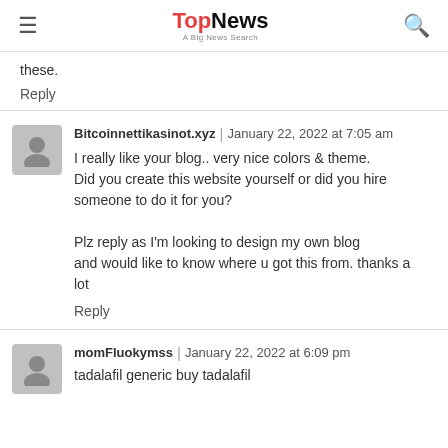TopNews — A Big News Search
these.
Reply
Bitcoinnettikasinot.xyz | January 22, 2022 at 7:05 am
I really like your blog.. very nice colors & theme. Did you create this website yourself or did you hire someone to do it for you?

Plz reply as I'm looking to design my own blog and would like to know where u got this from. thanks a lot
Reply
momFluokymss | January 22, 2022 at 6:09 pm
tadalafil generic buy tadalafil